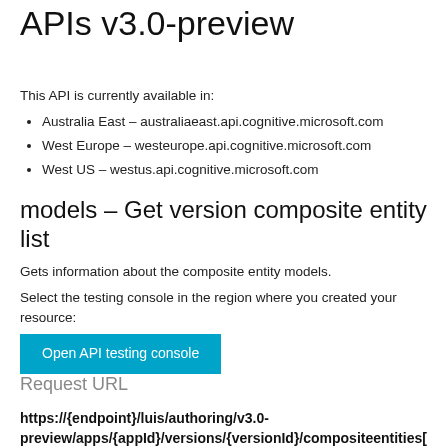LUIS Programmatic APIs v3.0-preview
This API is currently available in:
Australia East – australiaeast.api.cognitive.microsoft.com
West Europe – westeurope.api.cognitive.microsoft.com
West US – westus.api.cognitive.microsoft.com
models - Get version composite entity list
Gets information about the composite entity models.
Select the testing console in the region where you created your resource:
Open API testing console
Request URL
https://{endpoint}/luis/authoring/v3.0-preview/apps/{appId}/versions/{versionId}/compositeentities[